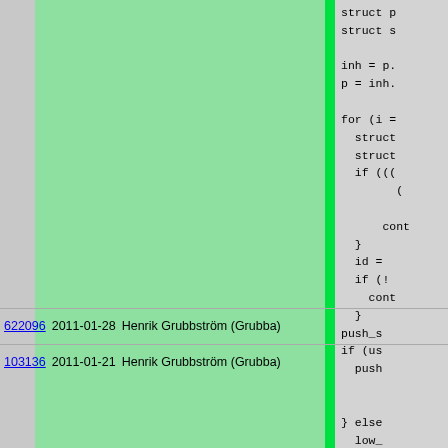| revision | date | author | code |
| --- | --- | --- | --- |
| (continued) | (continued) | (continued) | struct p
struct s

inh = p.
p = inh.

for (i =
  struct
  struct
  if (((
        (
            
      cont
  }
  id = 
  if (!
    cont
  } |
| 622096 | 2011-01-28 | Henrik Grubbström (Grubba) | push_s |
| 103136 | 2011-01-21 | Henrik Grubbström (Grubba) | if (us
  push


} else
  low_


  Pike
} |